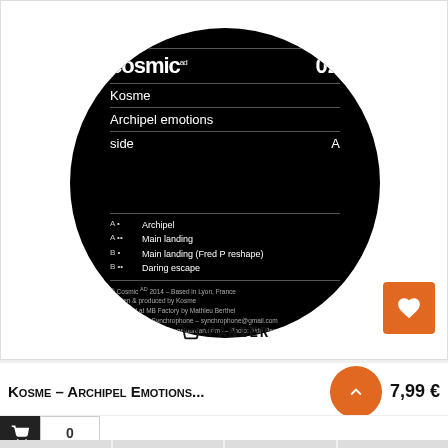[Figure (photo): Vinyl record label for Cosmic AD 02, Kosme - Archipel emotions, Side A. Black record with white text showing label logo, artist, album, tracklist and credits. Orange wishlist heart button in corner. Cart/Panier button at bottom.]
Kosme - Archipel Emotions...
7,99 €